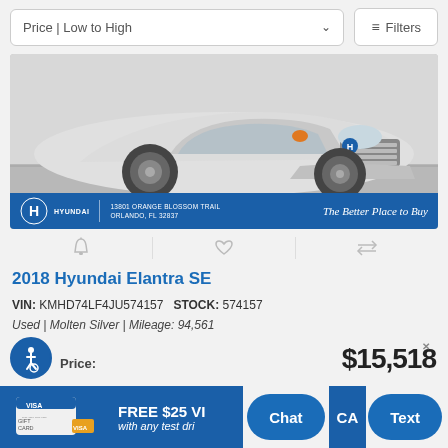Price | Low to High   Filters
[Figure (photo): Silver 2018 Hyundai Elantra SE sedan shown from front-right angle in a showroom. Dealer banner at bottom reads: HYUNDAI | 13801 ORANGE BLOSSOM TRAIL ORLANDO, FL 32837 | The Better Place to Buy]
2018 Hyundai Elantra SE
VIN: KMHD74LF4JU574157   STOCK: 574157
Used | Molten Silver | Mileage: 94,561
Price: $15,518
FREE $25 VISA GIFT CARD with any test drive
Chat   Text